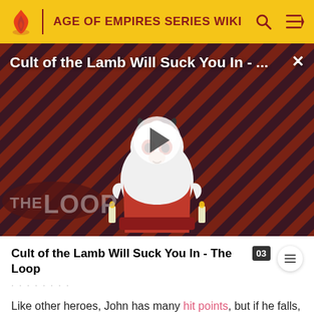AGE OF EMPIRES SERIES WIKI
[Figure (screenshot): Video thumbnail showing 'Cult of the Lamb Will Suck You In - ...' with a cartoon lamb character on a diagonal red and dark striped background, overlaid with a play button and 'THE LOOP' logo in the bottom left. A close (X) button is in the top right.]
Cult of the Lamb Will Suck You In - The Loop
Like other heroes, John has many hit points, but if he falls, he will collapse instead of dying and need to